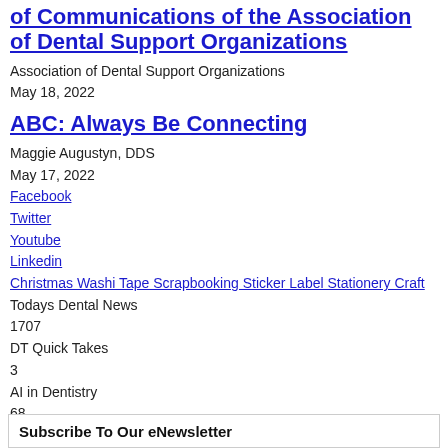of Communications of the Association of Dental Support Organizations
Association of Dental Support Organizations
May 18, 2022
ABC: Always Be Connecting
Maggie Augustyn, DDS
May 17, 2022
Facebook
Twitter
Youtube
Linkedin
Christmas Washi Tape Scrapbooking Sticker Label Stationery Craft
Todays Dental News
1707
DT Quick Takes
3
AI in Dentistry
68
Subscribe To Our eNewsletter